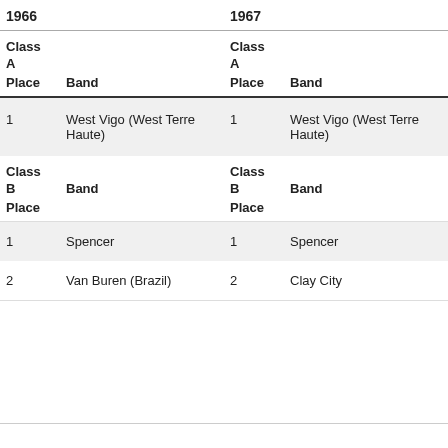| 1966 Place | 1966 Band | 1967 Place | 1967 Band |
| --- | --- | --- | --- |
| Class A |  | Class A |  |
| Place | Band | Place | Band |
| 1 | West Vigo (West Terre Haute) | 1 | West Vigo (West Terre Haute) |
| Class B |  | Class B |  |
| Place | Band | Place | Band |
| 1 | Spencer | 1 | Spencer |
| 2 | Van Buren (Brazil) | 2 | Clay City |